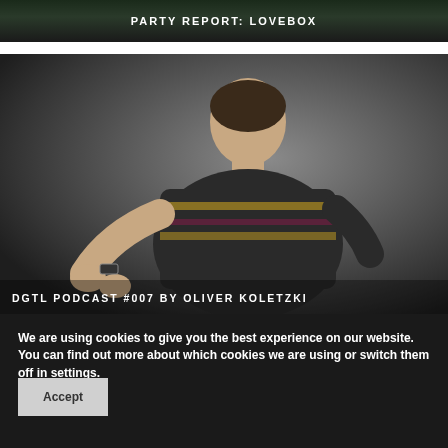[Figure (photo): Top banner image showing a dark scene with text overlay 'PARTY REPORT: LOVEBOX' in white uppercase letters]
[Figure (photo): Photo of a young man with short dark hair wearing a patterned sweater, adjusting his sleeve. Text overlay at bottom reads 'DGTL PODCAST #007 BY OLIVER KOLETZKI']
We are using cookies to give you the best experience on our website.
You can find out more about which cookies we are using or switch them off in settings.
Accept